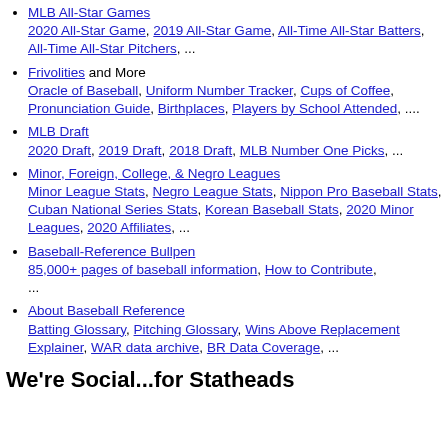MLB All-Star Games
2020 All-Star Game, 2019 All-Star Game, All-Time All-Star Batters, All-Time All-Star Pitchers, ...
Frivolities and More
Oracle of Baseball, Uniform Number Tracker, Cups of Coffee, Pronunciation Guide, Birthplaces, Players by School Attended, ....
MLB Draft
2020 Draft, 2019 Draft, 2018 Draft, MLB Number One Picks, ...
Minor, Foreign, College, & Negro Leagues
Minor League Stats, Negro League Stats, Nippon Pro Baseball Stats, Cuban National Series Stats, Korean Baseball Stats, 2020 Minor Leagues, 2020 Affiliates, ...
Baseball-Reference Bullpen
85,000+ pages of baseball information, How to Contribute, ...
About Baseball Reference
Batting Glossary, Pitching Glossary, Wins Above Replacement Explainer, WAR data archive, BR Data Coverage, ...
We're Social...for Statheads